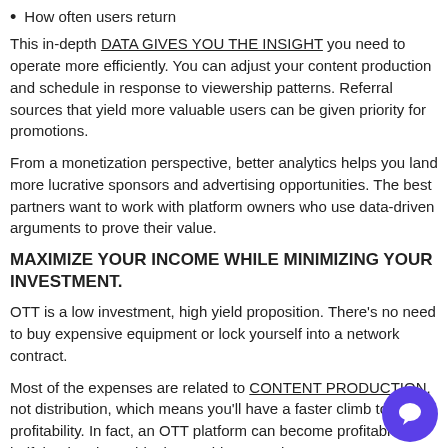How often users return
This in-depth DATA GIVES YOU THE INSIGHT you need to operate more efficiently. You can adjust your content production and schedule in response to viewership patterns. Referral sources that yield more valuable users can be given priority for promotions.
From a monetization perspective, better analytics helps you land more lucrative sponsors and advertising opportunities. The best partners want to work with platform owners who use data-driven arguments to prove their value.
MAXIMIZE YOUR INCOME WHILE MINIMIZING YOUR INVESTMENT.
OTT is a low investment, high yield proposition. There’s no need to buy expensive equipment or lock yourself into a network contract.
Most of the expenses are related to CONTENT PRODUCTION, not distribution, which means you’ll have a faster climb to profitability. In fact, an OTT platform can become profitable in half the time it would take a cable network.